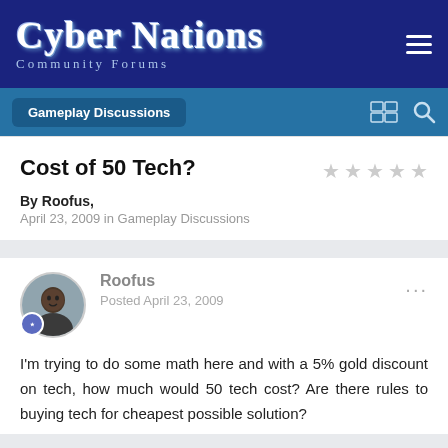Cyber Nations Community Forums
Gameplay Discussions
Cost of 50 Tech?
By Roofus,
April 23, 2009 in Gameplay Discussions
Roofus
Posted April 23, 2009
I'm trying to do some math here and with a 5% gold discount on tech, how much would 50 tech cost? Are there rules to buying tech for cheapest possible solution?